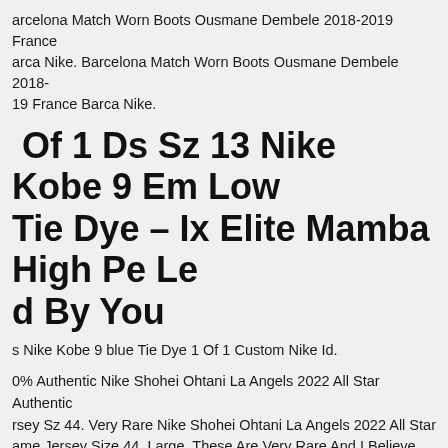arcelona Match Worn Boots Ousmane Dembele 2018-2019 France arca Nike. Barcelona Match Worn Boots Ousmane Dembele 2018-19 France Barca Nike.
Of 1 Ds Sz 13 Nike Kobe 9 Em Low Tie Dye – Ix Elite Mamba High Pe Le d By You
s Nike Kobe 9 blue Tie Dye 1 Of 1 Custom Nike Id.
0% Authentic Nike Shohei Ohtani La Angels 2022 All Star Authentic rsey Sz 44. Very Rare Nike Shohei Ohtani La Angels 2022 All Star ame Jersey Size 44, Large. These Are Very Rare And I Believe Only 50 ere Produced. This Was Purchased Directly From The Angels Official am Store. These Jerseys Were Sold Out In Seconds. A Great Jersey T ld To The Collection As This Is Definitely A Collectible. Any Question el Free To Message Me, Thanks